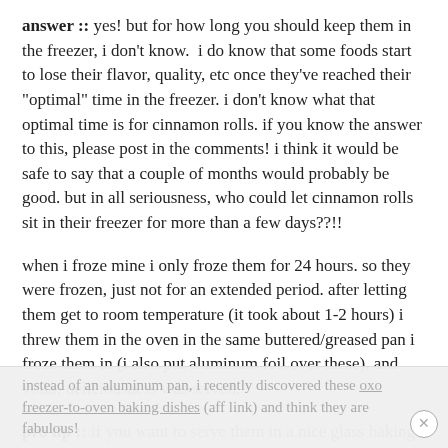answer :: yes! but for how long you should keep them in the freezer, i don't know. i do know that some foods start to lose their flavor, quality, etc once they've reached their "optimal" time in the freezer. i don't know what that optimal time is for cinnamon rolls. if you know the answer to this, please post in the comments! i think it would be safe to say that a couple of months would probably be good. but in all seriousness, who could let cinnamon rolls sit in their freezer for more than a few days??!!
when i froze mine i only froze them for 24 hours. so they were frozen, just not for an extended period. after letting them get to room temperature (it took about 1-2 hours) i threw them in the oven in the same buttered/greased pan i froze them in (i also put aluminum foil over these), and voila! deliciousness was served.
pro tip :: if you want to serve them in a nice glass baking dish instead of an aluminum pan, i recently discovered these oxo freezer-to-oven baking dishes (aff link) and think they are fabulous!